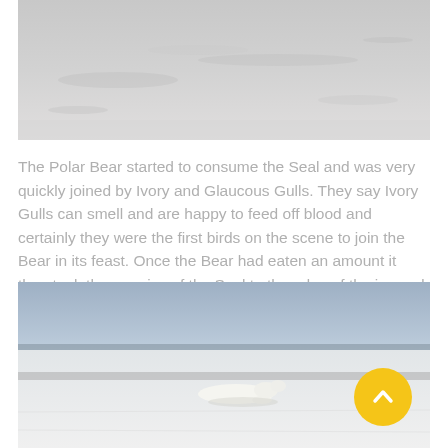[Figure (photo): Top portion of a snowy/icy arctic landscape in grey-white tones, showing a flat ice surface with subtle textures and shadows.]
The Polar Bear started to consume the Seal and was very quickly joined by Ivory and Glaucous Gulls. They say Ivory Gulls can smell and are happy to feed off blood and certainly they were the first birds on the scene to join the Bear in its feast. Once the Bear had eaten an amount it then took the remains of the Seal to the edge of the ice and washed them before then burying them.
[Figure (photo): A polar bear lying flat on a snowy arctic landscape, viewed from a distance. The sky is blue-grey and horizon shows a flat icy field. A yellow circular scroll-to-top button overlays the lower right of the image.]